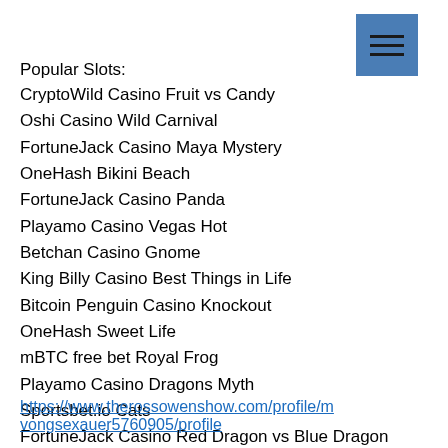Popular Slots:
CryptoWild Casino Fruit vs Candy
Oshi Casino Wild Carnival
FortuneJack Casino Maya Mystery
OneHash Bikini Beach
FortuneJack Casino Panda
Playamo Casino Vegas Hot
Betchan Casino Gnome
King Billy Casino Best Things in Life
Bitcoin Penguin Casino Knockout
OneHash Sweet Life
mBTC free bet Royal Frog
Playamo Casino Dragons Myth
Sportsbet.io Cats
FortuneJack Casino Red Dragon vs Blue Dragon
Betcoin.ag Casino Fantasy Fortune
https://www.therossowenshow.com/profile/mvongsexauer5760905/profile